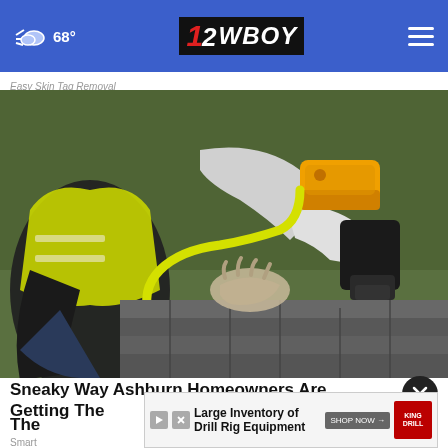68° | 12WBOY
Easy Skin Tag Removal
[Figure (photo): A worker in a yellow safety vest nailing shingles on a roof with a pneumatic nail gun, wearing gloves, with a yellow hose attached to the tool.]
Sneaky Way Ashburn Homeowners Are Getting Their Roofs Replaced
[Figure (other): Bottom advertisement banner: Large Inventory of Drill Rig Equipment with SHOP NOW button and King Drilling logo]
Smart